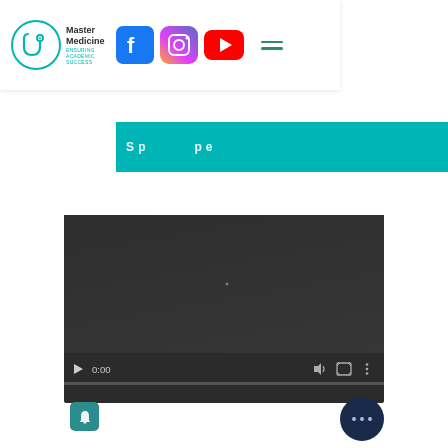[Figure (screenshot): Master Medicine logo with stethoscope icon, teal color, text reads Master Medicine Ensuring Academic Success]
[Figure (logo): Facebook logo blue square with white f]
[Figure (logo): Instagram gradient logo]
[Figure (logo): YouTube red play button logo]
[Figure (screenshot): Hamburger menu icon with three horizontal teal lines]
[Figure (screenshot): Teal banner bar partially visible with white text]
[Figure (screenshot): Video player with dark background, showing 0:00 timestamp, play button, volume, fullscreen, and more options controls. Progress bar at bottom. Teal notification icon and dark more-options circle button visible.]